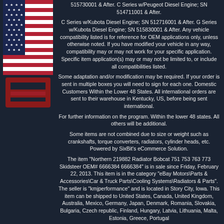[Figure (illustration): US flag illustration on dark background in left sidebar]
515730001 & After. C Series w/Peugeot Diesel Engine; SN 514711001 & After.
C Series w/Kubota Diesel Engine; SN 512716001 & After. G Series w/Kubota Diesel Engine; SN 515830001 & After. Any vehicle compatibility listed is for reference for OEM applications only, unless otherwise noted. If you have modified your vehicle in any way, compatibility may or may not work for your specific application. Specific item application(s) may or may not be limited to, or include all compatibilities listed.
Some adaptation and/or modification may be required. If your order is sent in multiple boxes you will need to sign for each one. Domestic Customers Within the Lower 48 States. All international orders are sent to their warehouse in Kentucky, US, before being sent international.
For further information on the program. Within the lower 48 states. All others will be additional.
Some items are not combined due to size or weight such as crankshafts, torque converters, radiators, cylinder heads, etc. Powered by SixBit's eCommerce Solution.
The item "Northern 219882 Radiator Bobcat 751 753 763 773 Skidsteer OEM# 6666384 6666384" is in sale since Friday, February 22, 2013. This item is in the category "eBay Motors\Parts & Accessories\Car & Truck Parts\Cooling Systems\Radiators & Parts". The seller is "kmjperformance" and is located in Story City, Iowa. This item can be shipped to United States, Canada, United Kingdom, Australia, Mexico, Germany, Japan, Denmark, Romania, Slovakia, Bulgaria, Czech republic, Finland, Hungary, Latvia, Lithuania, Malta, Estonia, Greece, Portugal